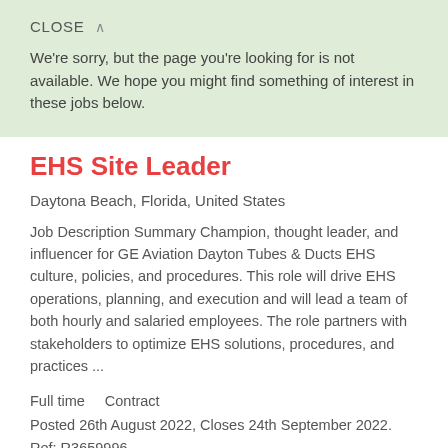CLOSE ∧
We're sorry, but the page you're looking for is not available. We hope you might find something of interest in these jobs below.
EHS Site Leader
Daytona Beach, Florida, United States
Job Description Summary Champion, thought leader, and influencer for GE Aviation Dayton Tubes & Ducts EHS culture, policies, and procedures. This role will drive EHS operations, planning, and execution and will lead a team of both hourly and salaried employees. The role partners with stakeholders to optimize EHS solutions, procedures, and practices ...
Full time    Contract
Posted 26th August 2022, Closes 24th September 2022. Ref: R3659996